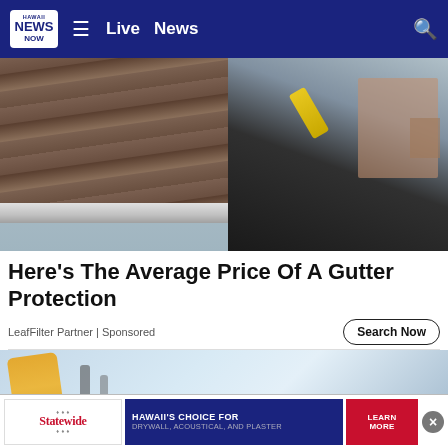Hawaii News Now — Live | News
[Figure (photo): Worker installing or cleaning gutters on a roof, wearing dark hoodie, holding a yellow power drill, with shingle roof visible in foreground]
Here's The Average Price Of A Gutter Protection
LeafFilter Partner | Sponsored
[Figure (photo): Partial view of a second article image showing tools or equipment with light blue background]
[Figure (other): Statewide advertisement banner: HAWAII'S CHOICE FOR DRYWALL, ACOUSTICAL, AND PLASTER — LEARN MORE]